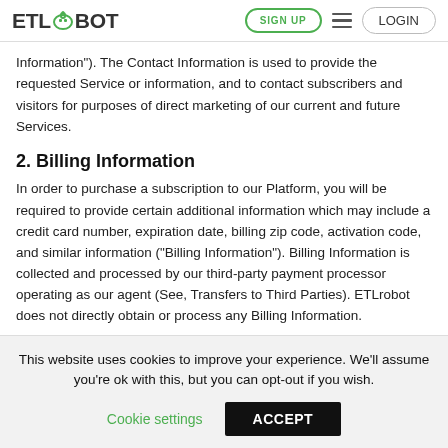[Figure (logo): ETLrobot logo with green robot icon and navigation buttons (SIGN UP, hamburger menu, LOGIN)]
Information"). The Contact Information is used to provide the requested Service or information, and to contact subscribers and visitors for purposes of direct marketing of our current and future Services.
2. Billing Information
In order to purchase a subscription to our Platform, you will be required to provide certain additional information which may include a credit card number, expiration date, billing zip code, activation code, and similar information ("Billing Information"). Billing Information is collected and processed by our third-party payment processor operating as our agent (See, Transfers to Third Parties). ETLrobot does not directly obtain or process any Billing Information.
This website uses cookies to improve your experience. We'll assume you're ok with this, but you can opt-out if you wish.
Cookie settings    ACCEPT